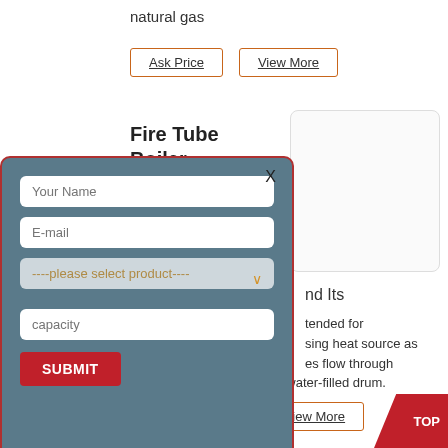natural gas
Ask Price | View More
Fire Tube Boiler –
[Figure (screenshot): Product image placeholder box (rounded rectangle, light gray border)]
nd Its
tended for
sing heat source as
es flow through
pipes with a water-filled drum.
Ask Price | View More
Fire Tube Boiler
[Figure (screenshot): Modal dialog with form fields: Your Name, E-mail, product dropdown, capacity, and SUBMIT button. Background is blue-gray with red border.]